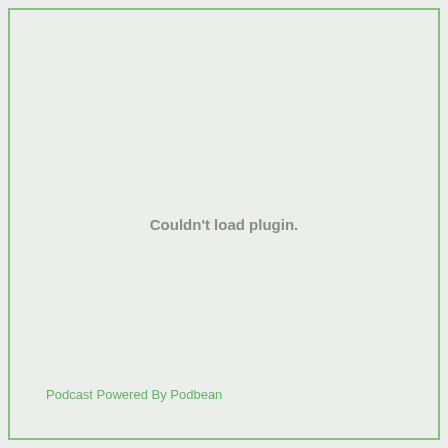Couldn't load plugin.
Podcast Powered By Podbean